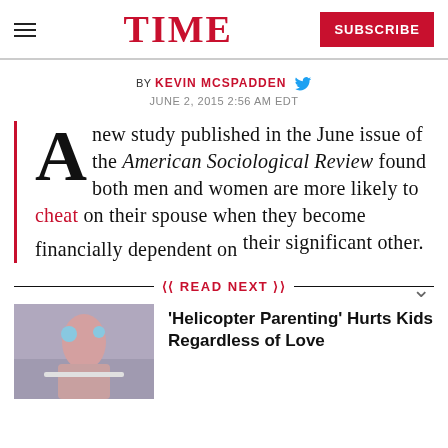TIME
BY KEVIN MCSPADDEN
JUNE 2, 2015 2:56 AM EDT
A new study published in the June issue of the American Sociological Review found both men and women are more likely to cheat on their spouse when they become financially dependent on their significant other.
READ NEXT
'Helicopter Parenting' Hurts Kids Regardless of Love